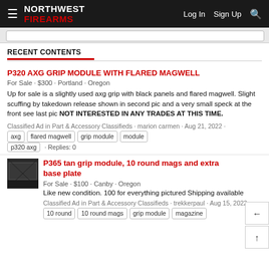NORTHWEST FIREARMS — Log In  Sign Up
RECENT CONTENTS
P320 AXG GRIP MODULE WITH FLARED MAGWELL
For Sale · $300 · Portland · Oregon
Up for sale is a slightly used axg grip with black panels and flared magwell. Slight scuffing by takedown release shown in second pic and a very small speck at the front see last pic NOT INTERESTED IN ANY TRADES AT THIS TIME.
Classified Ad in Part & Accessory Classifieds · marion carmen · Aug 21, 2022 · axg · flared magwell · grip module · module · p320 axg · Replies: 0
P365 tan grip module, 10 round mags and extra base plate
For Sale · $100 · Canby · Oregon
Like new condition. 100 for everything pictured Shipping available
Classified Ad in Part & Accessory Classifieds · trekkerpaul · Aug 15, 2022 · 10 round · 10 round mags · grip module · magazine